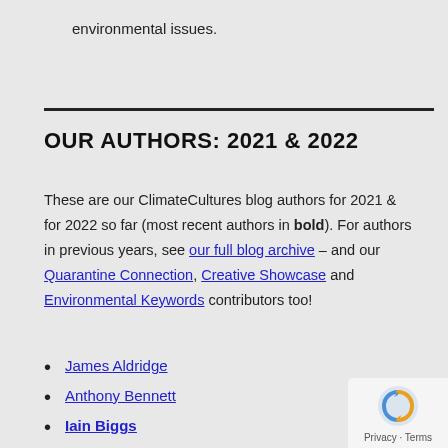environmental issues.
OUR AUTHORS: 2021 & 2022
These are our ClimateCultures blog authors for 2021 & for 2022 so far (most recent authors in bold). For authors in previous years, see our full blog archive – and our Quarantine Connection, Creative Showcase and Environmental Keywords contributors too!
James Aldridge
Anthony Bennett
Iain Biggs
Hanien Conradie